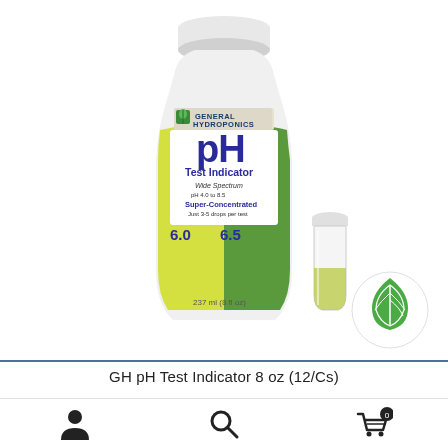[Figure (photo): General Hydroponics pH Test Indicator 8oz bottle with yellow-green label showing pH scale 6.0 and 6.5, alongside a small vial with yellow-green liquid, and a green leaf droplet logo in the bottom right corner]
GH pH Test Indicator 8 oz (12/Cs)
[Figure (infographic): Bottom navigation bar with person icon, search magnifier icon, and shopping cart icon with badge showing 0]